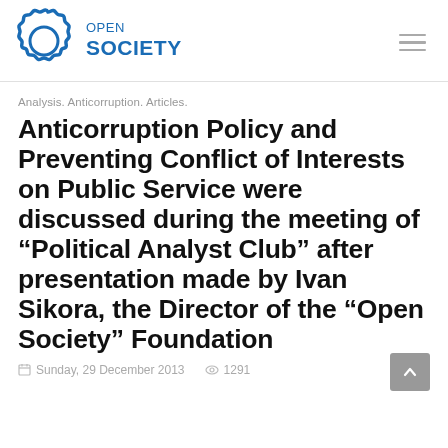OPEN SOCIETY
Analysis. Anticorruption. Articles.
Anticorruption Policy and Preventing Conflict of Interests on Public Service were discussed during the meeting of “Political Analyst Club” after presentation made by Ivan Sikora, the Director of the “Open Society” Foundation
Sunday, 29 December 2013   1291